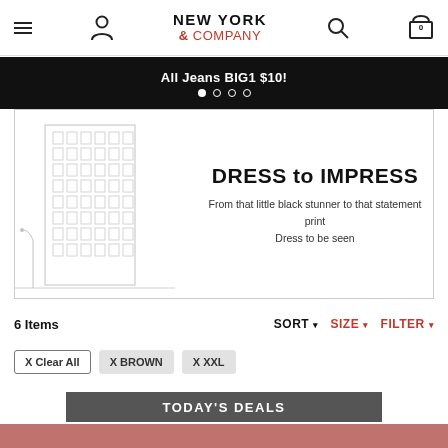NEW YORK & COMPANY
All Jeans BIG1 $10!
[Figure (illustration): Hero banner with a pencil sketch of a New York building on the left and promotional text on the right: DRESS to IMPRESS / From that little black stunner to that statement print / Dress to be seen]
6 Items   SORT ▾   SIZE ▾   FILTER ▾
X Clear All   X BROWN   X XXL
TODAY'S DEALS